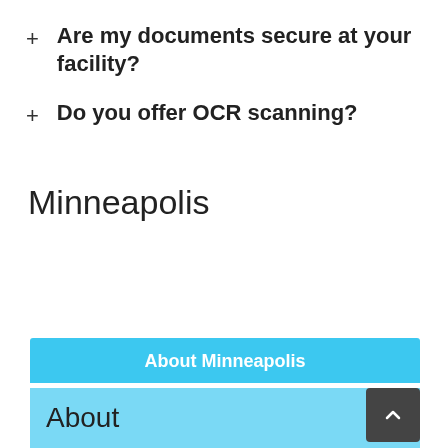+ Are my documents secure at your facility?
+ Do you offer OCR scanning?
Minneapolis
About Minneapolis
About